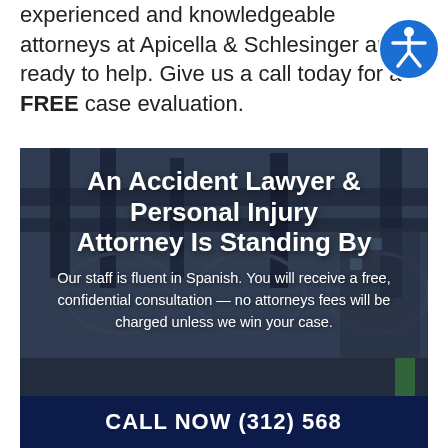experienced and knowledgeable attorneys at Apicella & Schlesinger are ready to help. Give us a call today for a FREE case evaluation.
[Figure (photo): City street view under elevated train tracks with overlay text: 'An Accident Lawyer & Personal Injury Attorney Is Standing By'. Below: 'Our staff is fluent in Spanish. You will receive a free, confidential consultation — no attorneys fees will be charged unless we win your case.' Dark navy call-to-action bar at bottom partially reading 'CALL NOW (312) 56...']
[Figure (logo): Accessibility icon — blue circle with white human figure (wheelchair accessibility symbol)]